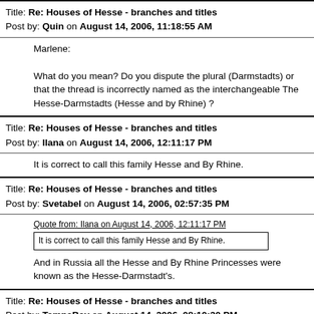Title: Re: Houses of Hesse - branches and titles
Post by: Quin on August 14, 2006, 11:18:55 AM
Marlene:

What do you mean? Do you dispute the plural (Darmstadts) or that the thread is incorrectly named as the interchangeable The Hesse-Darmstadts (Hesse and by Rhine) ?
Title: Re: Houses of Hesse - branches and titles
Post by: Ilana on August 14, 2006, 12:11:17 PM
It is correct to call this family Hesse and By Rhine.
Title: Re: Houses of Hesse - branches and titles
Post by: Svetabel on August 14, 2006, 02:57:35 PM
Quote from: Ilana on August 14, 2006, 12:11:17 PM
It is correct to call this family Hesse and By Rhine.

And in Russia all the Hesse and By Rhine Princesses were known as the Hesse-Darmstadt's.
Title: Re: Houses of Hesse - branches and titles
Post by: TampaBay on August 14, 2006, 08:10:30 PM